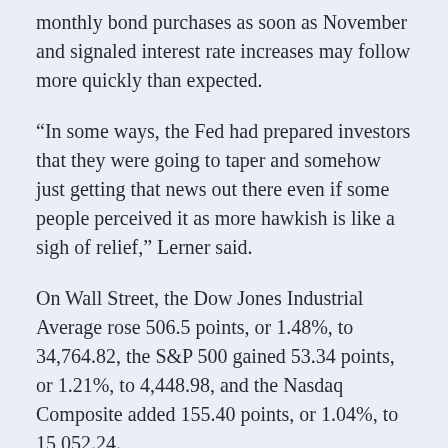monthly bond purchases as soon as November and signaled interest rate increases may follow more quickly than expected.
“In some ways, the Fed had prepared investors that they were going to taper and somehow just getting that news out there even if some people perceived it as more hawkish is like a sigh of relief,” Lerner said.
On Wall Street, the Dow Jones Industrial Average rose 506.5 points, or 1.48%, to 34,764.82, the S&P 500 gained 53.34 points, or 1.21%, to 4,448.98, and the Nasdaq Composite added 155.40 points, or 1.04%, to 15,052.24.
The pan-European STOXX 600 index rose 0.93%.